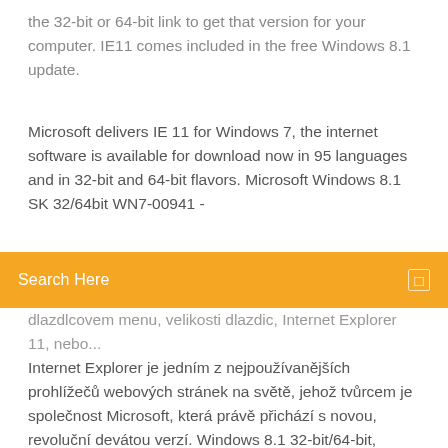the 32-bit or 64-bit link to get that version for your computer. IE11 comes included in the free Windows 8.1 update.
Microsoft delivers IE 11 for Windows 7, the internet software is available for download now in 95 languages and in 32-bit and 64-bit flavors. Microsoft Windows 8.1 SK 32/64bit WN7-00941 -
Search Here
dlazdlcovem menu, velikosti dlazdic, Internet Explorer 11, nebo... Internet Explorer je jedním z nejpoužívanějších prohlížečů webových stránek na světě, jehož tvůrcem je společnost Microsoft, která právě přichází s novou, revoluční devátou verzí. Windows 8.1 32-bit/64-bit, Elektronicky v češtině skladem Bezpečná platba u specialistů na software Záruka spokojenosti Poradíme s výběrem Internet Explorer 11 je zdarma ke stažení nejen pro Windows 7, ale i pro XP, Vista, Windows 8 a 10. Článek popisuje návod pro Win 7. Software pro údržbu PC - zrychlení procházení internetu, změřte si zkutečnou rychlost vašeho